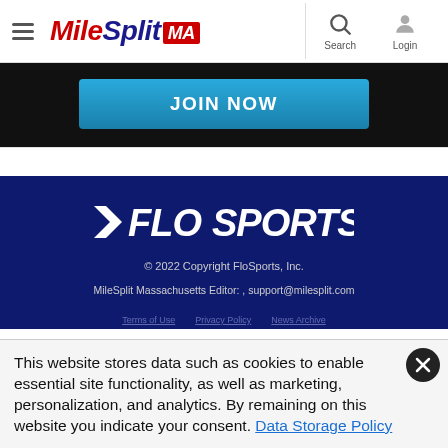MileSplit MA — Search, Login
[Figure (screenshot): Black banner with blue JOIN NOW button]
[Figure (logo): FloSports logo in white on dark navy background]
© 2022 Copyright FloSports, Inc. | MileSplit Massachusetts Editor: , support@milesplit.com
This website stores data such as cookies to enable essential site functionality, as well as marketing, personalization, and analytics. By remaining on this website you indicate your consent. Data Storage Policy